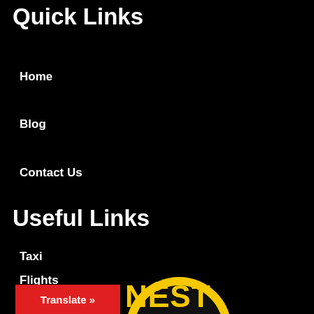Quick Links
Home
Blog
Contact Us
Useful Links
Taxi
Flights
Hotels
Translate »
[Figure (logo): Partial logo showing 'NEST' text in yellow/black on a circular badge, bottom right]